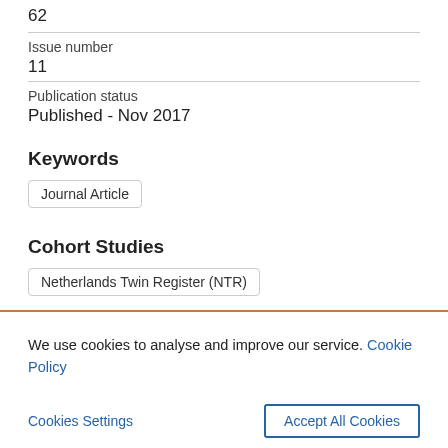62
Issue number
11
Publication status
Published - Nov 2017
Keywords
Journal Article
Cohort Studies
Netherlands Twin Register (NTR)
We use cookies to analyse and improve our service. Cookie Policy
Cookies Settings
Accept All Cookies